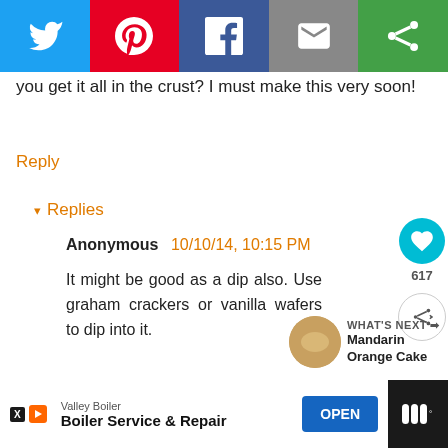[Figure (other): Social media share bar with Twitter (blue), Pinterest (red), Facebook (dark blue), Email (grey), and another share option (green) icons]
you get it all in the crust? I must make this very soon!
Reply
▾ Replies
Anonymous 10/10/14, 10:15 PM
It might be good as a dip also. Use graham crackers or vanilla wafers to dip into it.
Reply
WHAT'S NEXT → Mandarin Orange Cake
Valley Boiler
Boiler Service & Repair